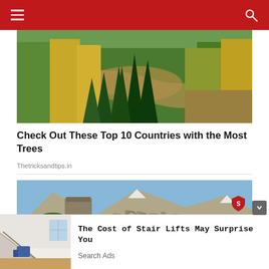Navigation bar with menu and search icons
[Figure (photo): Aerial view of a river winding through autumn forest with green conifers and yellow-leafed trees]
Check Out These Top 10 Countries with the Most Trees
Thetricksandtips.in
[Figure (photo): Ancient stone ruins with arched columns in a mountain valley under blue sky]
The Cost of Stair Lifts May Surprise You
Search Ads